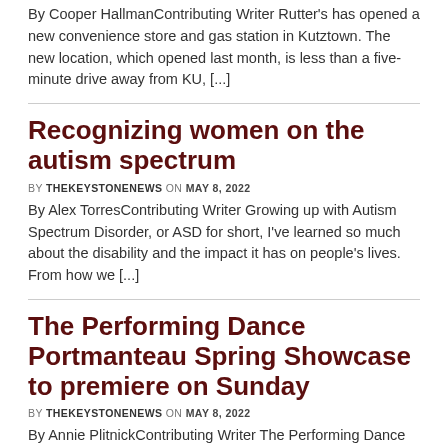By Cooper HallmanContributing Writer Rutter's has opened a new convenience store and gas station in Kutztown. The new location, which opened last month, is less than a five-minute drive away from KU, [...]
Recognizing women on the autism spectrum
BY THEKEYSTONENEWS ON MAY 8, 2022
By Alex TorresContributing Writer Growing up with Autism Spectrum Disorder, or ASD for short, I've learned so much about the disability and the impact it has on people's lives. From how we [...]
The Performing Dance Portmanteau Spring Showcase to premiere on Sunday
BY THEKEYSTONENEWS ON MAY 8, 2022
By Annie PlitnickContributing Writer The Performing Dance Portmanteau spring showcase is premiering on May 8 at 3